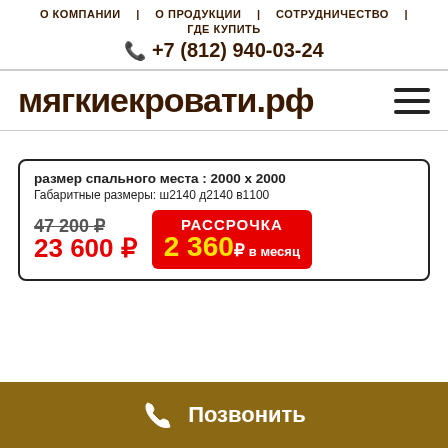О КОМПАНИИ | О ПРОДУКЦИИ | СОТРУДНИЧЕСТВО | ГДЕ КУПИТЬ
+7 (812) 940-03-24
мягкиекровати.рф
размер спального места : 2000 х 2000
Габаритные размеры: ш2140 д2140 в1100
47 200 р (зачёркнуто)
23 600 р
РАССРОЧКА 2 360₽ в месяц
Позвонить